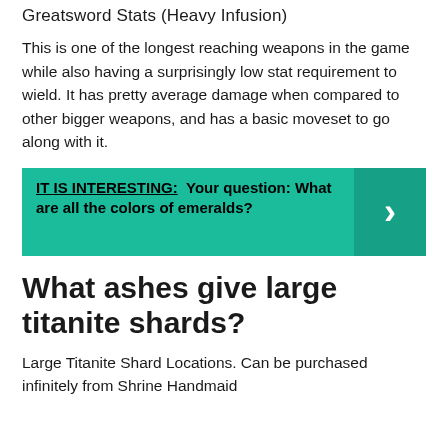Greatsword Stats (Heavy Infusion)
This is one of the longest reaching weapons in the game while also having a surprisingly low stat requirement to wield. It has pretty average damage when compared to other bigger weapons, and has a basic moveset to go along with it.
IT IS INTERESTING: Your question: What are all the colors of emeralds?
What ashes give large titanite shards?
Large Titanite Shard Locations. Can be purchased infinitely from Shrine Handmaid